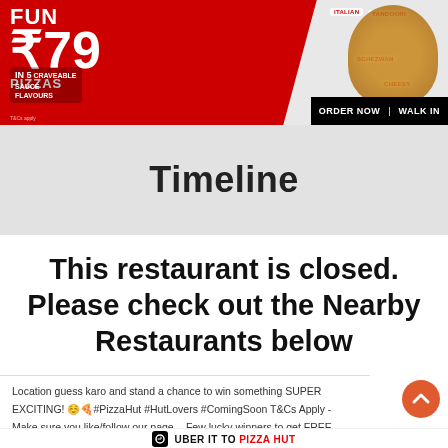[Figure (photo): Pizza Hut promotional banner advertising Fun Pizzas at ₹79 in 5 craveable sauce flavours, with pizza images labeled Italian, Tandoori, Schezwan, Cheesy, and people reacting with excitement. ORDER NOW | WALK IN buttons at bottom right.]
Timeline
This restaurant is closed. Please check out the Nearby Restaurants below
Location guess karo and stand a chance to win something SUPER EXCITING! 😊🍕#PizzaHut #HutLovers #ComingSoon T&Cs Apply - Make sure you like/follow our page. - Few lucky winners to get FREE vouchers. - Winners to be announced on the 26th of March.
UBER IT TO PIZZA HUT